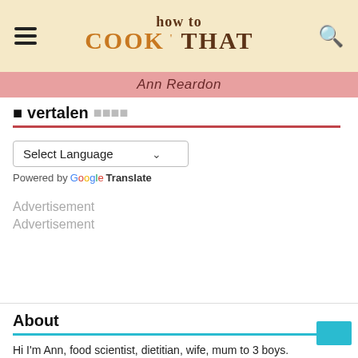[Figure (logo): How To Cook That logo with decorative food-themed lettering on tan/cream background, with hamburger menu icon on left and search icon on right]
Ann Reardon
vertalen
Select Language
Powered by Google Translate
Advertisement
Advertisement
About
Hi I'm Ann, food scientist, dietitian, wife, mum to 3 boys.